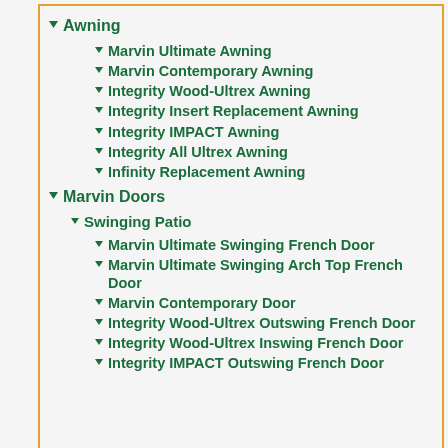Awning
Marvin Ultimate Awning
Marvin Contemporary Awning
Integrity Wood-Ultrex Awning
Integrity Insert Replacement Awning
Integrity IMPACT Awning
Integrity All Ultrex Awning
Infinity Replacement Awning
Marvin Doors
Swinging Patio
Marvin Ultimate Swinging French Door
Marvin Ultimate Swinging Arch Top French Door
Marvin Contemporary Door
Integrity Wood-Ultrex Outswing French Door
Integrity Wood-Ultrex Inswing French Door
Integrity IMPACT Outswing French Door